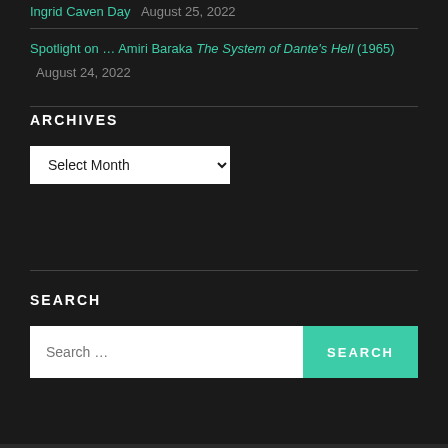Ingrid Caven Day  August 25, 2022
Spotlight on … Amiri Baraka The System of Dante's Hell (1965)  August 24, 2022
ARCHIVES
Select Month
SEARCH
Search …